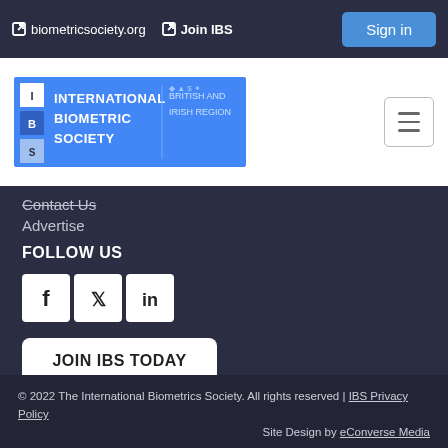biometricsociety.org   Join IBS   Sign in
[Figure (logo): International Biometric Society - British and Irish Region logo on blue background]
Contact Us
Advertise
FOLLOW US
[Figure (infographic): Social media icons: Facebook, Twitter, LinkedIn]
JOIN IBS TODAY
© 2022 The International Biometrics Society. All rights reserved | IBS Privacy Policy   Site Design by eConverse Media